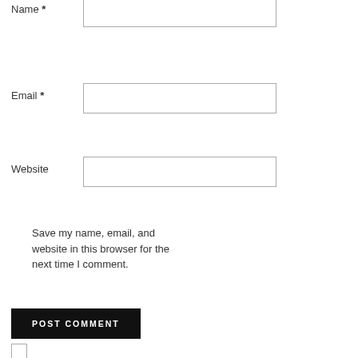Name *
[Figure (other): Text input field for Name]
Email *
[Figure (other): Text input field for Email]
Website
[Figure (other): Text input field for Website]
Save my name, email, and website in this browser for the next time I comment.
POST COMMENT